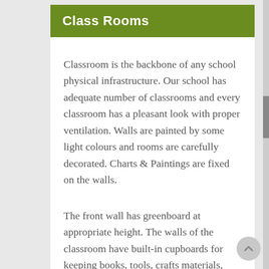Class Rooms
Classroom is the backbone of any school physical infrastructure. Our school has adequate number of classrooms and every classroom has a pleasant look with proper ventilation. Walls are painted by some light colours and rooms are carefully decorated. Charts & Paintings are fixed on the walls.
The front wall has greenboard at appropriate height. The walls of the classroom have built-in cupboards for keeping books, tools, crafts materials,